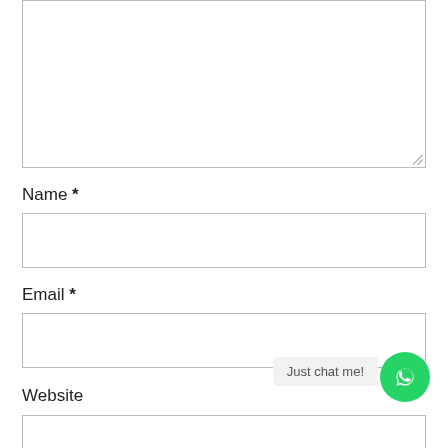[Figure (screenshot): Empty textarea input box with resize handle at bottom-right]
Name *
[Figure (screenshot): Empty text input field for Name]
Email *
[Figure (screenshot): Empty text input field for Email]
Website
[Figure (screenshot): Empty text input field for Website]
Just chat me!
[Figure (logo): WhatsApp green circular button with phone/chat icon]